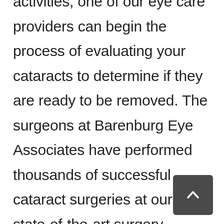activities, one of our eye care providers can begin the process of evaluating your cataracts to determine if they are ready to be removed. The surgeons at Barenburg Eye Associates have performed thousands of successful cataract surgeries at our state-of-the-art surgery center. During the surgery, the eye's natural lens is removed and usually replaced with a plastic